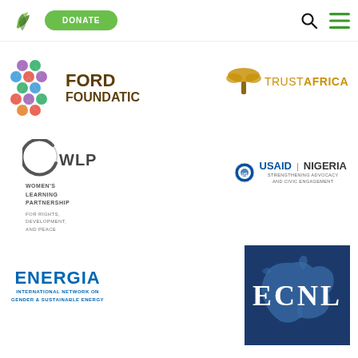Navigation bar with logo, DONATE button, search icon, and menu icon
[Figure (logo): Ford Foundation logo with colorful hexagon pattern and text FORD FOUNDATION]
[Figure (logo): TrustAfrica logo with acacia tree silhouette and text TRUSTAFRICA]
[Figure (logo): WLP Women's Learning Partnership for Rights, Development, and Peace logo]
[Figure (logo): USAID Nigeria Strengthening Advocacy and Civic Engagement logo]
[Figure (logo): ENERGIA International Network on Gender and Sustainable Energy logo]
[Figure (logo): ECNL logo with European map in dark blue background]